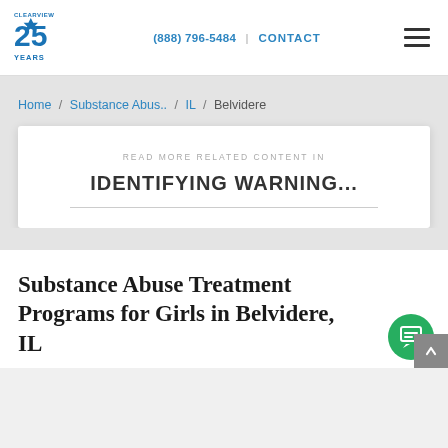Clearview 25 Years | (888) 796-5484 | CONTACT
Home / Substance Abus.. / IL / Belvidere
[Figure (other): Card with text: READ MORE RELATED CONTENT IN / IDENTIFYING WARNING...]
Substance Abuse Treatment Programs for Girls in Belvidere, IL